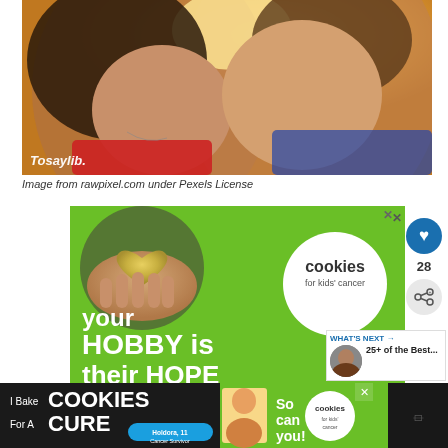[Figure (photo): A couple about to kiss, backlit by warm golden sunlight outdoors. Woman on left with dark hair, man on right. 'Tosaylib.' watermark in bottom-left corner.]
Image from rawpixel.com under Pexels License
[Figure (infographic): Advertisement for 'Cookies for Kids Cancer' on a bright green background. Shows hands holding a heart-shaped cookie/object. Text reads: 'your HOBBY is their HOPE'. Logo circle with 'cookies for kids' cancer' in white circle.]
[Figure (infographic): Bottom banner ad for 'I Bake COOKIES For A CURE' featuring a child named Holdora, 11, Cancer Survivor. Shows cookies for kids' cancer logo. 'So can you!' text on right side.]